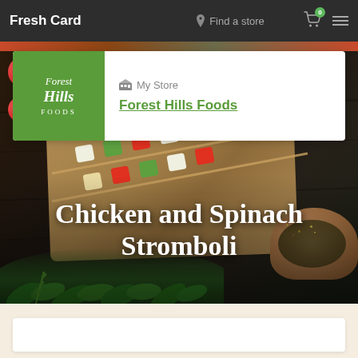Fresh Card
Find a store
My Store
Forest Hills Foods
[Figure (photo): Food photography showing vegetable and chicken skewers on a wooden cutting board surrounded by cherry tomatoes, herbs, and a bowl of spices on a dark wooden surface]
Chicken and Spinach Stromboli